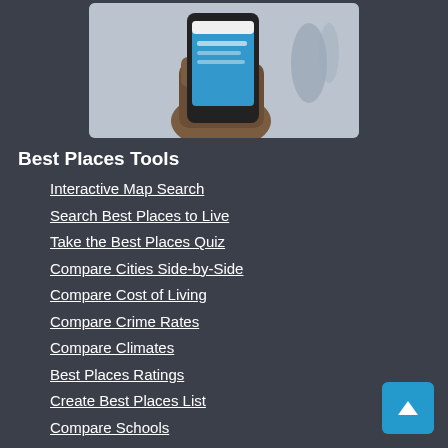[Figure (photo): Hand holding a smartphone displaying a website or app interface, blurred background.]
Best Places Tools
Interactive Map Search
Search Best Places to Live
Take the Best Places Quiz
Compare Cities Side-by-Side
Compare Cost of Living
Compare Crime Rates
Compare Climates
Best Places Ratings
Create Best Places List
Compare Schools
New York, NY
Chicago, IL